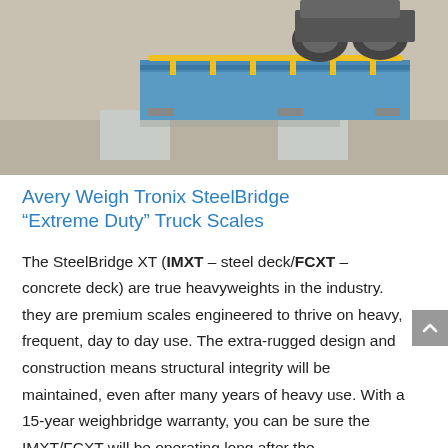[Figure (photo): Photo of Avery Weigh Tronix SteelBridge truck scale from above/side angle, showing a large blue steel weighbridge platform with yellow safety rails, concrete supports, and a truck partially visible on top.]
Avery Weigh Tronix SteelBridge “Extreme Duty” Truck Scales
The SteelBridge XT (IMXT – steel deck/FCXT – concrete deck) are true heavyweights in the industry. they are premium scales engineered to thrive on heavy, frequent, day to day use. The extra-rugged design and construction means structural integrity will be maintained, even after many years of heavy use. With a 15-year weighbridge warranty, you can be sure the IMXT/FCXT will be operating long after the